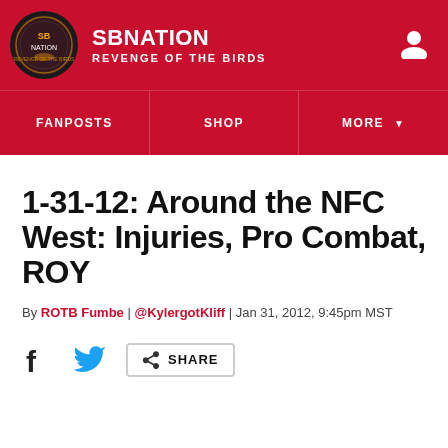SB NATION | REVENGE OF THE BIRDS
1-31-12: Around the NFC West: Injuries, Pro Combat, ROY
By ROTB Fumbe | @KylergotKliff | Jan 31, 2012, 9:45pm MST
SHARE